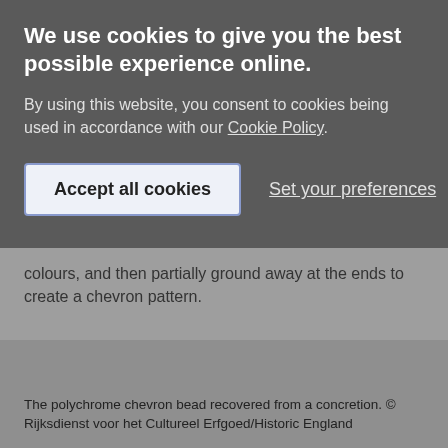We use cookies to give you the best possible experience online.
By using this website, you consent to cookies being used in accordance with our Cookie Policy.
Accept all cookies
Set your preferences
colours, and then partially ground away at the ends to create a chevron pattern.
The polychrome chevron bead recovered from a concretion. © Rijksdienst voor het Cultureel Erfgoed/Historic England